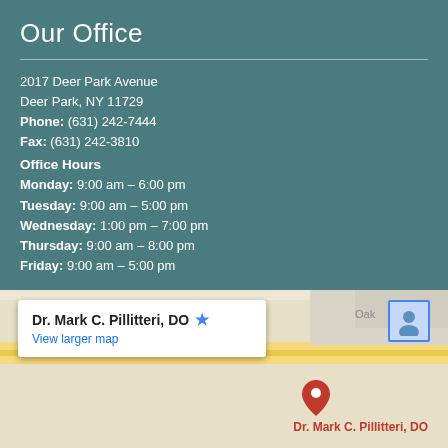Our Office
2017 Deer Park Avenue
Deer Park, NY 11729
Phone: (631) 242-7444
Fax: (631) 242-3810
Office Hours
Monday: 9:00 am – 6:00 pm
Tuesday: 9:00 am – 5:00 pm
Wednesday: 1:00 pm – 7:00 pm
Thursday: 9:00 am – 8:00 pm
Friday: 9:00 am – 5:00 pm
[Figure (map): Google Maps embed showing location of Dr. Mark C. Pillitteri, DO with a popup label and red map pin marker]